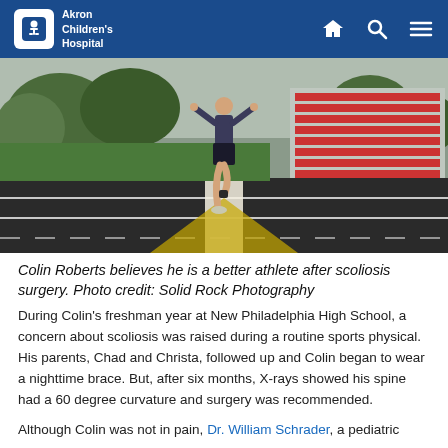Akron Children's Hospital
[Figure (photo): Athlete running on a track, viewed from behind, wearing athletic gear on a cloudy day with bleachers visible on the right side.]
Colin Roberts believes he is a better athlete after scoliosis surgery. Photo credit: Solid Rock Photography
During Colin's freshman year at New Philadelphia High School, a concern about scoliosis was raised during a routine sports physical. His parents, Chad and Christa, followed up and Colin began to wear a nighttime brace. But, after six months, X-rays showed his spine had a 60 degree curvature and surgery was recommended.
Although Colin was not in pain, Dr. William Schrader, a pediatric